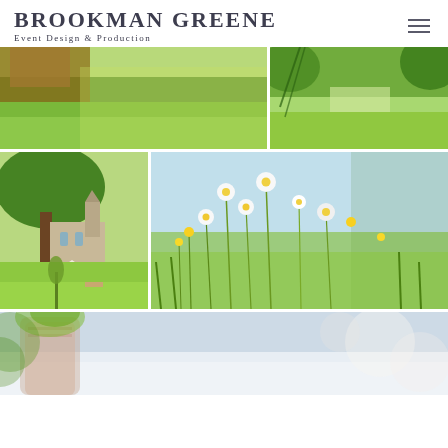BROOKMAN GREENE
Event Design & Production
[Figure (photo): Outdoor garden scene with wooden log furniture on green grass in bright sunlight]
[Figure (photo): Garden path with weeping willow and lush green trees and lawn]
[Figure (photo): English country church viewed through trees with lawn, gazebo and outdoor furniture]
[Figure (photo): Close-up of wildflowers including white daisies and yellow buttercups in a meadow]
[Figure (photo): Elegant table setting with decorative vase and floral arrangement, blurred background]